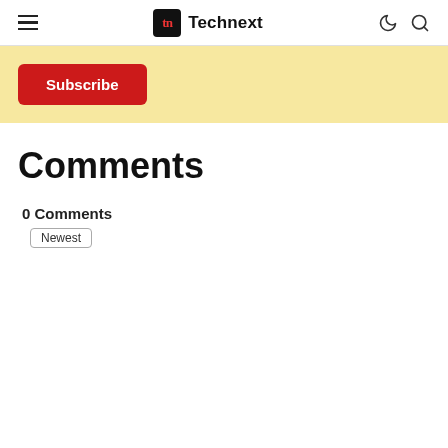Technext
[Figure (screenshot): Subscribe banner with red Subscribe button on a pale yellow background]
Comments
0 Comments